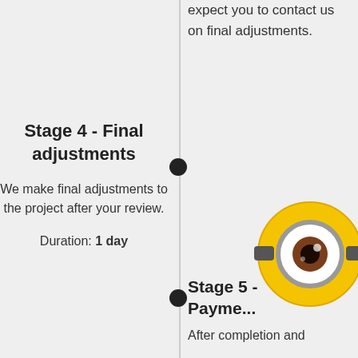expect you to contact us on final adjustments.
Stage 4 - Final adjustments
We make final adjustments to the project after your review.
Duration: 1 day
Stage 5 - Payment...
After completion and
[Figure (illustration): Minion character showing one yellow circular eye with brown iris, wearing silver goggles frame, on yellow round head background]